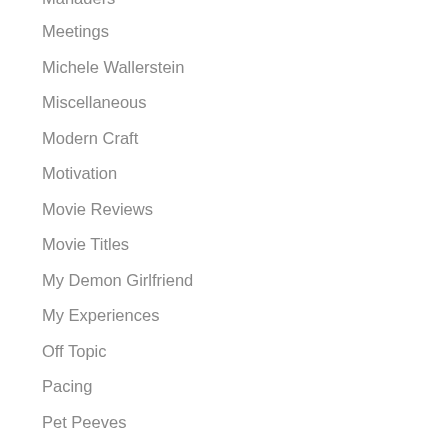Managers
Meetings
Michele Wallerstein
Miscellaneous
Modern Craft
Motivation
Movie Reviews
Movie Titles
My Demon Girlfriend
My Experiences
Off Topic
Pacing
Pet Peeves
Pilar Alessandra
Pitching